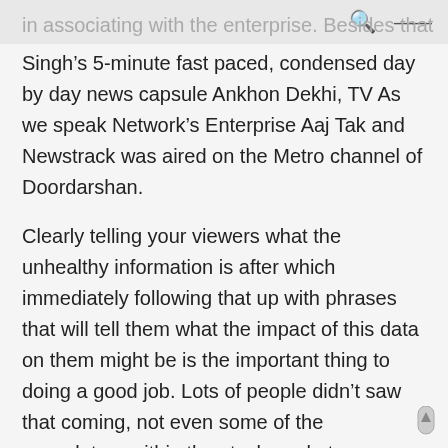in associating with the enterprise. Besides that Nak [search] [menu]
Singh’s 5-minute fast paced, condensed day by day news capsule Ankhon Dekhi, TV As we speak Network’s Enterprise Aaj Tak and Newstrack was aired on the Metro channel of Doordarshan.
Clearly telling your viewers what the unhealthy information is after which immediately following that up with phrases that will tell them what the impact of this data on them might be is the important thing to doing a good job. Lots of people didn’t saw that coming, not even some of the speculators within the stock market. Moreover, proof signifies that this exposure is contributing to a quickly rising incidence of sickness, thus costing companies, taxpayers, and the government billions of dollars in well being care prices and misplaced work time.